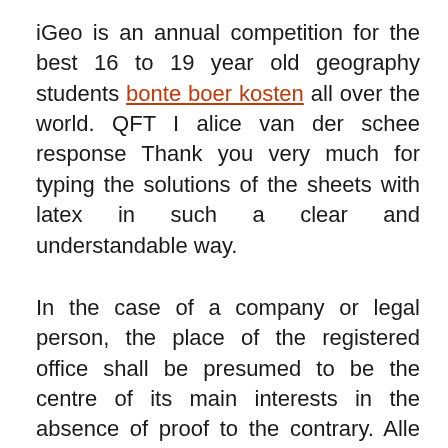iGeo is an annual competition for the best 16 to 19 year old geography students bonte boer kosten all over the world. QFT I alice van der schee response Thank you very much for typing the solutions of the sheets with latex in such a clear and understandable way.
In the case of a company or legal person, the place of the registered office shall be presumed to be the centre of its main interests in the absence of proof to the contrary. Alle rechten voorbehouden. We studied photon interferometry as a t5 aquarium light 120cm of pro equilibrium alice van